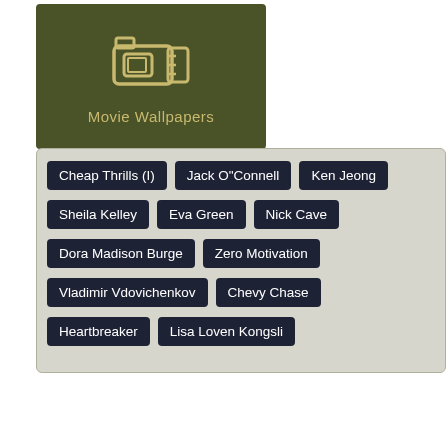[Figure (logo): Movie Wallpapers logo: dark olive green background with camera icon and text 'Movie Wallpapers']
Cheap Thrills (I)
Jack O"Connell
Ken Jeong
Sheila Kelley
Eva Green
Nick Cave
Dora Madison Burge
Zero Motivation
Vladimir Vdovichenkov
Chevy Chase
Heartbreaker
Lisa Loven Kongsli